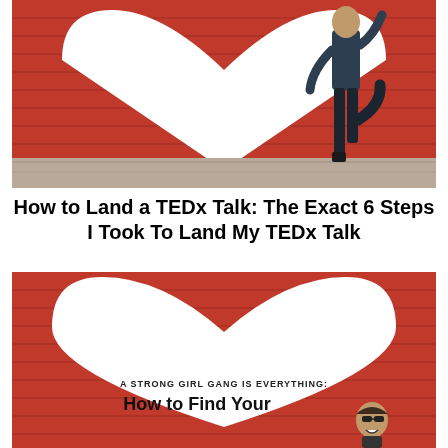[Figure (photo): Person standing against a red brick wall mural featuring a large white heart shape. The person is wearing dark jeans and a dark top, posed with one leg raised.]
How to Land a TEDx Talk: The Exact 6 Steps I Took To Land My TEDx Talk
[Figure (photo): Red brick wall with a large white heart mural. Inside the heart reads 'A STRONG GIRL GANG IS EVERYTHING: How to Find Your [Boobs and Build]...' with a small image of a woman wearing sunglasses.]